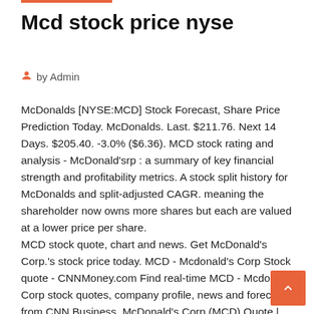Mcd stock price nyse
by Admin
McDonalds [NYSE:MCD] Stock Forecast, Share Price Prediction Today. McDonalds. Last. $211.76. Next 14 Days. $205.40. -3.0% ($6.36). MCD stock rating and analysis - McDonald'srp : a summary of key financial strength and profitability metrics. A stock split history for McDonalds and split-adjusted CAGR. meaning the shareholder now owns more shares but each are valued at a lower price per share.
MCD stock quote, chart and news. Get McDonald's Corp.'s stock price today. MCD - Mcdonald's Corp Stock quote - CNNMoney.com Find real-time MCD - Mcdonald's Corp stock quotes, company profile, news and forecasts from CNN Business. McDonald's Corp (MCD) Quote | Morningstar Learn about MCD with our data and independent analysis including price, star rating, valuation, dividends, and financials. Start a 14-day free trial to Morningstar Premium to unlock our take on